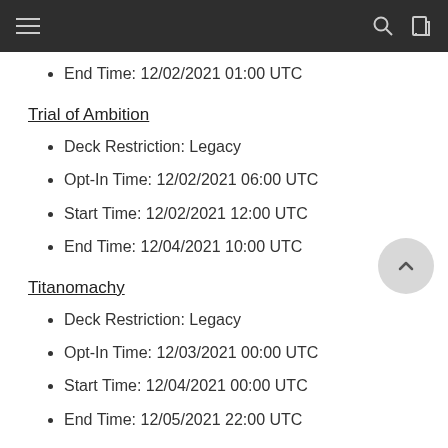End Time: 12/02/2021 01:00 UTC
Trial of Ambition
Deck Restriction: Legacy
Opt-In Time: 12/02/2021 06:00 UTC
Start Time: 12/02/2021 12:00 UTC
End Time: 12/04/2021 10:00 UTC
Titanomachy
Deck Restriction: Legacy
Opt-In Time: 12/03/2021 00:00 UTC
Start Time: 12/04/2021 00:00 UTC
End Time: 12/05/2021 22:00 UTC